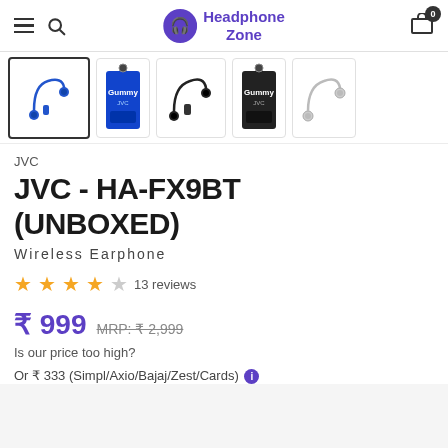Headphone Zone
[Figure (screenshot): Product thumbnail gallery showing JVC HA-FX9BT wireless earphones in blue (selected), blue box packaging, black earphones, black box packaging, and white earphones]
JVC
JVC - HA-FX9BT (UNBOXED)
Wireless Earphone
★★★★☆ 13 reviews
₹ 999  MRP: ₹ 2,999
Is our price too high?
Or ₹ 333 (Simpl/Axio/Bajaj/Zest/Cards)